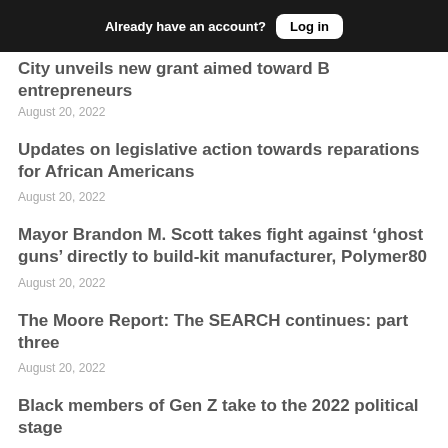Already have an account? Log in
City unveils new grant aimed toward B entrepreneurs
August 20, 2022
Updates on legislative action towards reparations for African Americans
August 20, 2022
Mayor Brandon M. Scott takes fight against ‘ghost guns’ directly to build-kit manufacturer, Polymer80
August 20, 2022
The Moore Report: The SEARCH continues: part three
August 20, 2022
Black members of Gen Z take to the 2022 political stage
August 19, 2022
Baltimore City Fire Department helps